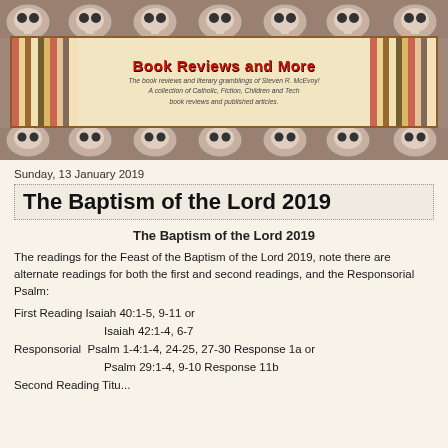[Figure (illustration): Blog header banner with skull/Halloween pattern background and center book-themed banner reading 'Book Reviews and More' with subtitle text]
Sunday, 13 January 2019
The Baptism of the Lord 2019
The Baptism of the Lord 2019
The readings for the Feast of the Baptism of the Lord 2019, note there are alternate readings for both the first and second readings, and the Responsorial Psalm:
First Reading Isaiah 40:1-5, 9-11 or
                Isaiah 42:1-4, 6-7
Responsorial  Psalm 1-4:1-4, 24-25, 27-30 Response 1a or
                Psalm 29:1-4, 9-10 Response 11b
Second Reading Titu...